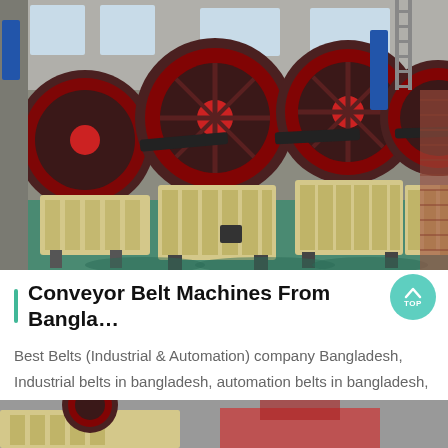[Figure (photo): Photo of multiple jaw crusher / conveyor belt machines lined up in a large industrial factory with green floor, cream/yellow colored machinery with dark red flywheel discs]
Conveyor Belt Machines From Bangla…
Best Belts (Industrial & Automation) company Bangladesh, Industrial belts in bangladesh, automation belts in bangladesh, rubber belts in…
[Figure (photo): Partial photo visible at bottom of page showing industrial machinery (bottom strip)]